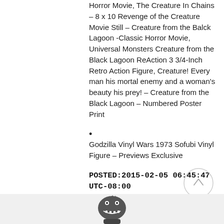Horror Movie, The Creature In Chains – 8 x 10 Revenge of the Creature Movie Still – Creature from the Balck Lagoon -Classic Horror Movie, Universal Monsters Creature from the Black Lagoon ReAction 3 3/4-Inch Retro Action Figure, Creature! Every man his mortal enemy and a woman's beauty his prey! – Creature from the Black Lagoon – Numbered Poster Print
•
Godzilla Vinyl Wars 1973 Sofubi Vinyl Figure – Previews Exclusive
POSTED:2015-02-05 06:45:47 UTC-08:00
[Figure (photo): Black and white image of a Godzilla vinyl figure, showing the head and upper body of the monster with open mouth and textured scales]